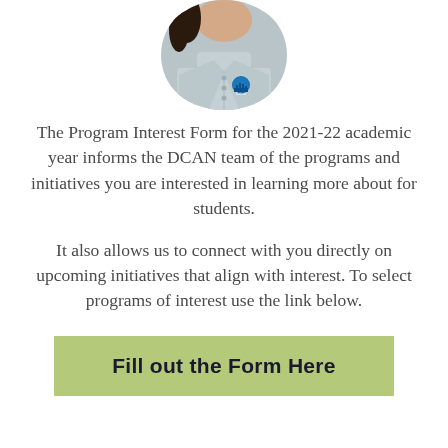[Figure (photo): Circular cropped photo of a person wearing a light gray polo shirt with a Detroit city logo badge/pin on it. Only the torso and lower neck/chin area visible.]
The Program Interest Form for the 2021-22 academic year informs the DCAN team of the programs and initiatives you are interested in learning more about for students.
It also allows us to connect with you directly on upcoming initiatives that align with interest. To select programs of interest use the link below.
Fill out the Form Here